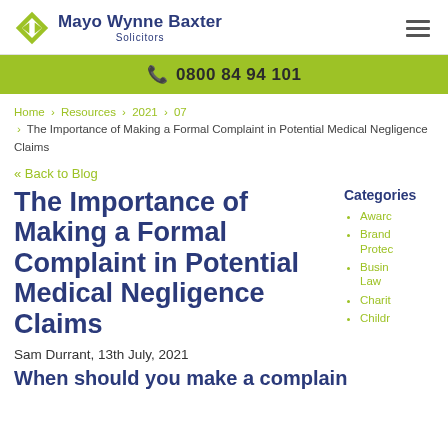Mayo Wynne Baxter Solicitors
0800 84 94 101
Home › Resources › 2021 › 07 › The Importance of Making a Formal Complaint in Potential Medical Negligence Claims
« Back to Blog
The Importance of Making a Formal Complaint in Potential Medical Negligence Claims
Categories
Awards
Brand Protection
Business Law
Charity
Children
Sam Durrant, 13th July, 2021
When should you make a complaint in…